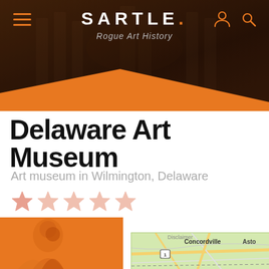SARTLE. — Rogue Art History
Delaware Art Museum
Art museum in Wilmington, Delaware
[Figure (other): Five-star rating display, mostly unfilled/light orange stars]
[Figure (photo): Orange-tinted artwork image panel on the left]
[Figure (map): Google Maps snippet showing Concordville and Aston area near Wilmington Delaware]